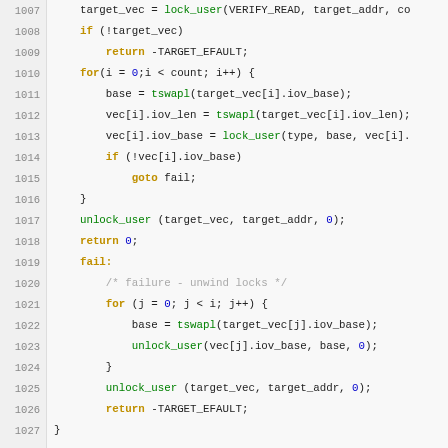[Figure (screenshot): Source code listing in C, lines 1007-1031, showing iovec lock/unlock logic with syntax highlighting. Keywords in orange/bold, function calls in green, numbers in blue, comments in gray.]